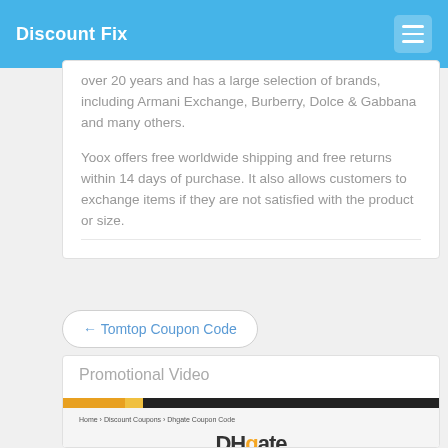Discount Fix
over 20 years and has a large selection of brands, including Armani Exchange, Burberry, Dolce & Gabbana and many others.
Yoox offers free worldwide shipping and free returns within 14 days of purchase. It also allows customers to exchange items if they are not satisfied with the product or size.
← Tomtop Coupon Code
Promotional Video
[Figure (screenshot): DHgate Discount Code webpage screenshot showing DHgate logo and 'Discount Code' text, with breadcrumb navigation 'Home > Discount Coupons > Dhgate Coupon Code']